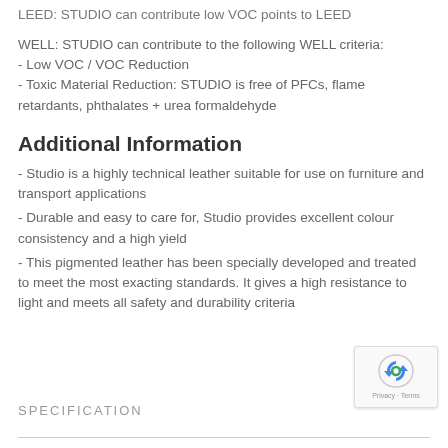LEED: STUDIO can contribute low VOC points to LEED
WELL: STUDIO can contribute to the following WELL criteria:
- Low VOC / VOC Reduction
- Toxic Material Reduction: STUDIO is free of PFCs, flame retardants, phthalates + urea formaldehyde
Additional Information
- Studio is a highly technical leather suitable for use on furniture and transport applications
- Durable and easy to care for, Studio provides excellent colour consistency and a high yield
- This pigmented leather has been specially developed and treated to meet the most exacting standards. It gives a high resistance to light and meets all safety and durability criteria
SPECIFICATION